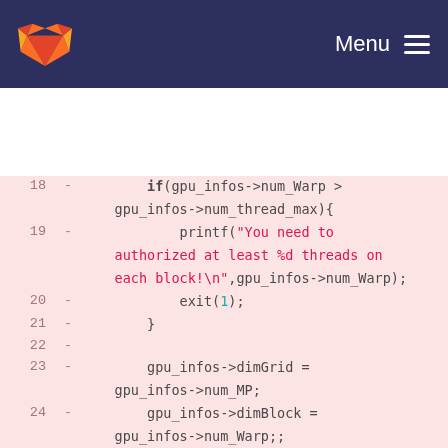GitLab navigation bar with logo and Menu button
Code diff view showing lines 18–28 of a CUDA/C source file. Lines show: if(gpu_infos->num_Warp > gpu_infos->num_thread_max){ printf("You need to authorized at least %d threads on each block!\n",gpu_infos->num_Warp); exit(1); } gpu_infos->dimGrid = gpu_infos->num_MP; gpu_infos->dimBlock = gpu_infos->num_Warp;; //While each element of the population can't be placed on the card while(gpu_infos->dimBlock * gpu_infos->dimGrid < gpu_infos->sh_pop_size) { //Every time we add